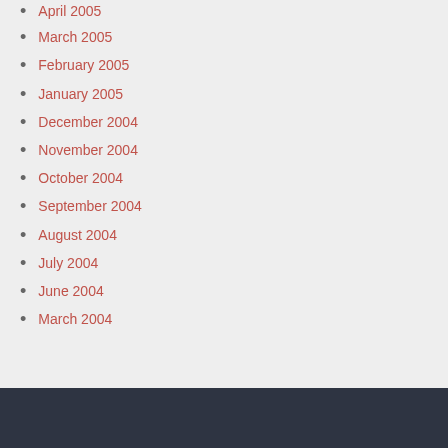April 2005
March 2005
February 2005
January 2005
December 2004
November 2004
October 2004
September 2004
August 2004
July 2004
June 2004
March 2004